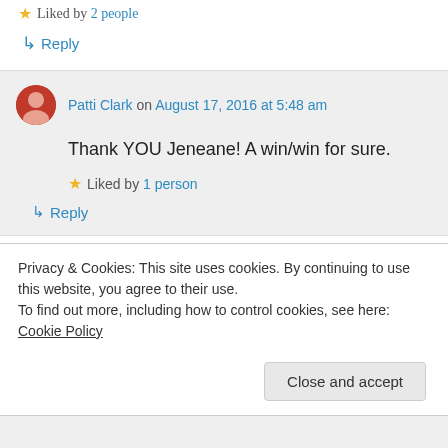Liked by 2 people
↳ Reply
Patti Clark on August 17, 2016 at 5:48 am
Thank YOU Jeneane! A win/win for sure.
Liked by 1 person
↳ Reply
Privacy & Cookies: This site uses cookies. By continuing to use this website, you agree to their use.
To find out more, including how to control cookies, see here: Cookie Policy
Close and accept